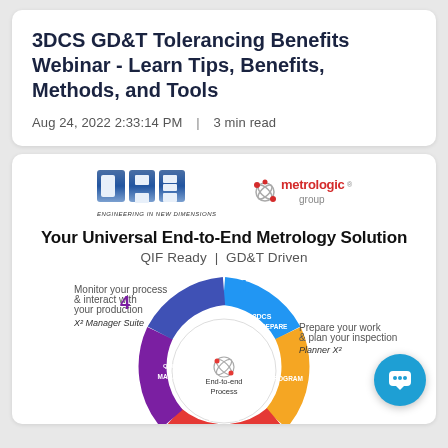3DCS GD&T Tolerancing Benefits Webinar - Learn Tips, Benefits, Methods, and Tools
Aug 24, 2022 2:33:14 PM  |  3 min read
[Figure (logo): DCS logo (Engineering in New Dimensions) on the left and Metrologic Group logo on the right]
Your Universal End-to-End Metrology Solution
QIF Ready | GD&T Driven
[Figure (infographic): Circular end-to-end process diagram showing 4 stages: PREPARE (3DCS, Planner X2), PROGRAM, EXECUTE (QDM), MANAGE (QDM, X2 Manager Suite) forming a wheel with 'End-to-end Process' in the center, with step labels and product logos around it.]